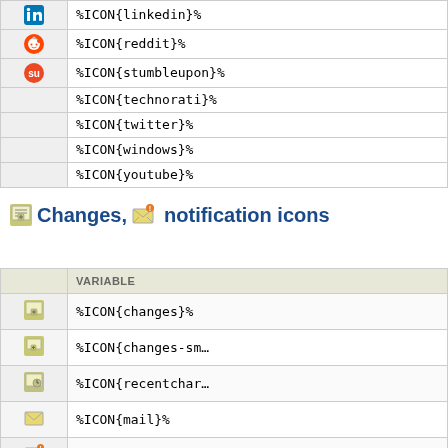|  | VARIABLE |
| --- | --- |
| [linkedin icon] | %ICON{linkedin}% |
| [reddit icon] | %ICON{reddit}% |
| [stumbleupon icon] | %ICON{stumbleupon}% |
|  | %ICON{technorati}% |
|  | %ICON{twitter}% |
|  | %ICON{windows}% |
|  | %ICON{youtube}% |
Changes, notification icons
|  | VARIABLE |
| --- | --- |
| [changes icon] | %ICON{changes}% |
| [changes-small icon] | %ICON{changes-sm… |
| [recentchanges icon] | %ICON{recentchar… |
| [mail icon] | %ICON{mail}% |
| [notify icon] | %ICON{notify}% |
| [feed icon] | %ICON{feed}% |